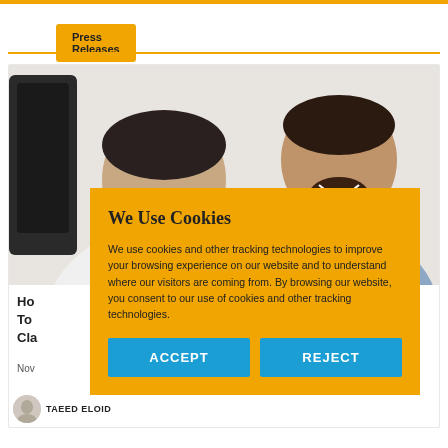Press Releases
[Figure (photo): Two young men looking at something together, one in a white shirt and one in a blue checked shirt, in an office setting.]
Ho... To... Cla...
Nov...
[Figure (screenshot): Cookie consent overlay with title 'We Use Cookies', body text about tracking technologies, and ACCEPT / REJECT buttons.]
TAEED ELOID